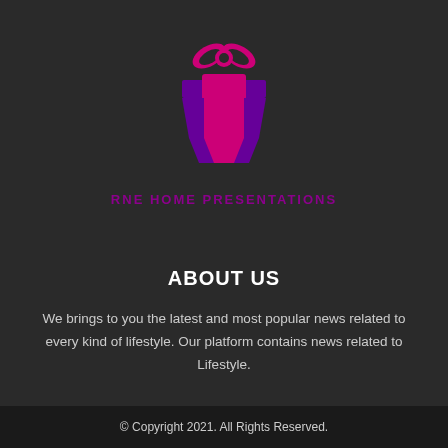[Figure (logo): Gift box logo icon in pink and purple colors — pink ribbon bow on top, pink gift box body with purple sides and purple trapezoid base]
RNE HOME PRESENTATIONS
ABOUT US
We brings to you the latest and most popular news related to every kind of lifestyle. Our platform contains news related to Lifestyle.
© Copyright 2021. All Rights Reserved.